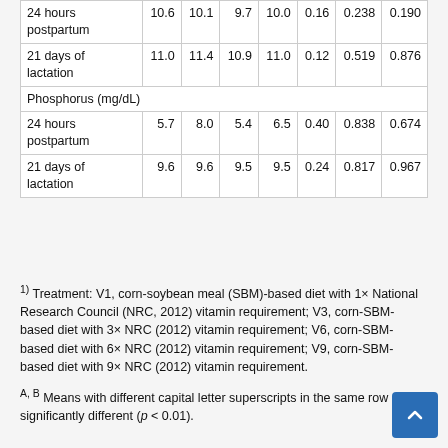| 24 hours postpartum | 10.6 | 10.1 | 9.7 | 10.0 | 0.16 | 0.238 | 0.190 |
| 21 days of lactation | 11.0 | 11.4 | 10.9 | 11.0 | 0.12 | 0.519 | 0.876 |
| Phosphorus (mg/dL) |  |  |  |  |  |  |  |
| 24 hours postpartum | 5.7 | 8.0 | 5.4 | 6.5 | 0.40 | 0.838 | 0.674 |
| 21 days of lactation | 9.6 | 9.6 | 9.5 | 9.5 | 0.24 | 0.817 | 0.967 |
1) Treatment: V1, corn-soybean meal (SBM)-based diet with 1× National Research Council (NRC, 2012) vitamin requirement; V3, corn-SBM-based diet with 3× NRC (2012) vitamin requirement; V6, corn-SBM-based diet with 6× NRC (2012) vitamin requirement; V9, corn-SBM-based diet with 9× NRC (2012) vitamin requirement.
A,B Means with different capital letter superscripts in the same row are significantly different (p < 0.01).